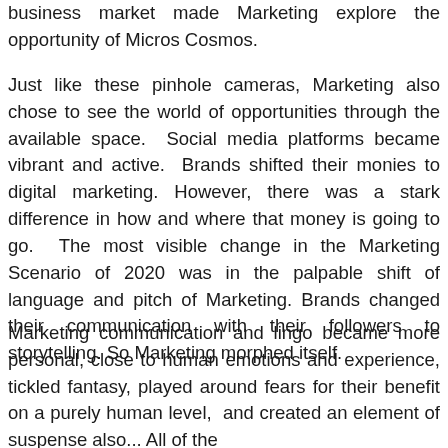business market made Marketing explore the opportunity of Micros Cosmos.
Just like these pinhole cameras, Marketing also chose to see the world of opportunities through the available space. Social media platforms became vibrant and active. Brands shifted their monies to digital marketing. However, there was a stark difference in how and where that money is going to go. The most visible change in the Marketing Scenario of 2020 was in the palpable shift of language and pitch of Marketing. Brands changed their communication with their followers to storytelling. So Marketing morphed itself.
Marketing communication and lingo became more personal, close to human emotions and experience, tickled fantasy, played around fears for their benefit on a purely human level, and created an element of suspense also... All of the